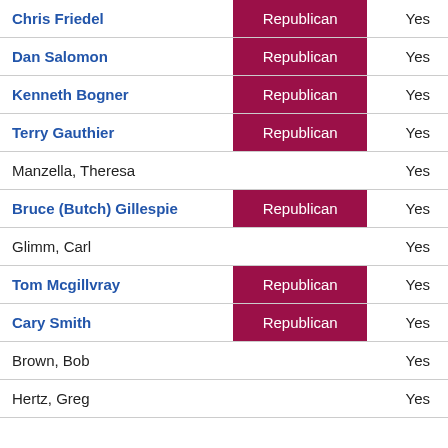| Name | Party | Vote |
| --- | --- | --- |
| Chris Friedel | Republican | Yes |
| Dan Salomon | Republican | Yes |
| Kenneth Bogner | Republican | Yes |
| Terry Gauthier | Republican | Yes |
| Manzella, Theresa |  | Yes |
| Bruce (Butch) Gillespie | Republican | Yes |
| Glimm, Carl |  | Yes |
| Tom Mcgillvray | Republican | Yes |
| Cary Smith | Republican | Yes |
| Brown, Bob |  | Yes |
| Hertz, Greg |  | Yes |